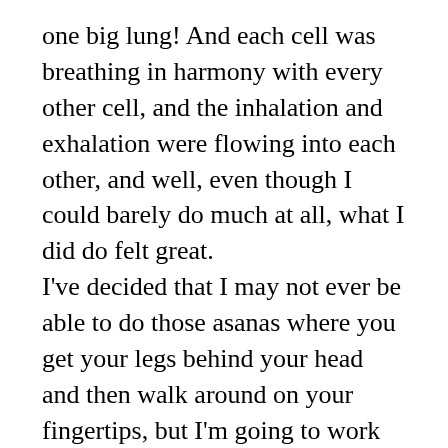one big lung! And each cell was breathing in harmony with every other cell, and the inhalation and exhalation were flowing into each other, and well, even though I could barely do much at all, what I did do felt great.
I've decided that I may not ever be able to do those asanas where you get your legs behind your head and then walk around on your fingertips, but I'm going to work hard at doing what I can do, and I'm going to master it. Setting myself that kind of goal without being 'attached' to the result, felt good.
I know the meditation helped. Sitting still for 30mins, observing my breath, repeating the mantra until my mind becomes so focused that all